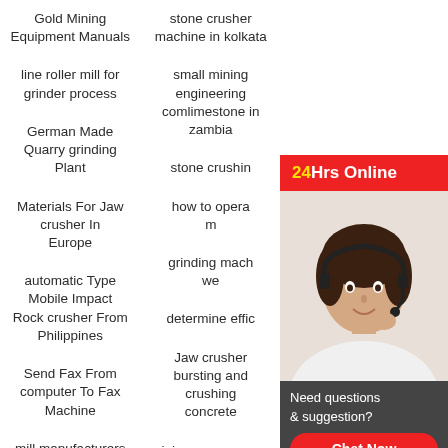Gold Mining Equipment Manuals
stone crusher machine in kolkata
line roller mill for grinder process
small mining engineering comlimestone in zambia
German Made Quarry grinding Plant
stone crushing...
Materials For Jaw crusher In Europe
how to operate... m...
automatic Type Mobile Impact Rock crusher From Philippines
grinding mach... we...
Send Fax From computer To Fax Machine
determine effic...
mill manufacturers south africa
Jaw crusher bursting and crushing concrete
Low failure rate cone crushing station in usa
mining compressors and crusher for sale in Algeria
machine pour eand ploitation or crushing
Bridgestone conveyor Belt Manual For Sale
[Figure (illustration): 24Hrs Online chat widget with customer service representative photo, red header, dark footer with Need questions & suggestion text, and red Chat Now button]